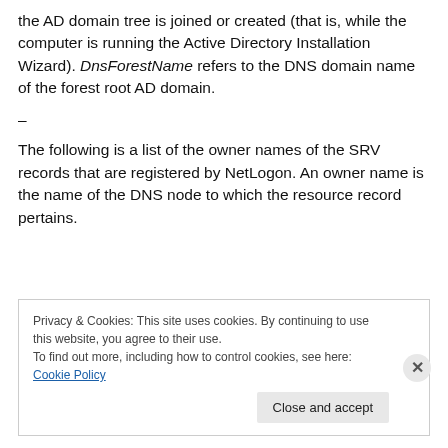the AD domain tree is joined or created (that is, while the computer is running the Active Directory Installation Wizard). DnsForestName refers to the DNS domain name of the forest root AD domain.
–
The following is a list of the owner names of the SRV records that are registered by NetLogon. An owner name is the name of the DNS node to which the resource record pertains.
Privacy & Cookies: This site uses cookies. By continuing to use this website, you agree to their use.
To find out more, including how to control cookies, see here: Cookie Policy